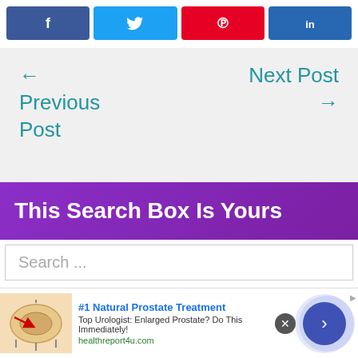[Figure (other): Social media share buttons: Facebook (blue), Twitter (light blue), Pinterest (red), LinkedIn (dark blue)]
← Previous Post
Next Post →
This Search Box Is Yours
Search ...
[Figure (other): Advertisement banner: #1 Natural Prostate Treatment. Top Urologist: Enlarged Prostate? Do This Immediately! healthreport4u.com. With prostate medical illustration and navigation arrow button.]